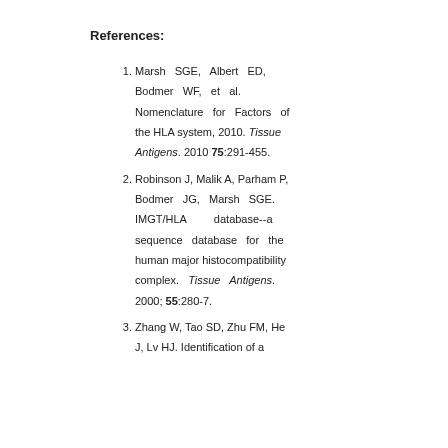References:
Marsh SGE, Albert ED, Bodmer WF, et al. Nomenclature for Factors of the HLA system, 2010. Tissue Antigens. 2010 75:291-455.
Robinson J, Malik A, Parham P, Bodmer JG, Marsh SGE. IMGT/HLA database--a sequence database for the human major histocompatibility complex. Tissue Antigens. 2000; 55:280-7.
Zhang W, Tao SD, Zhu FM, He J, Lv HJ. Identification of a